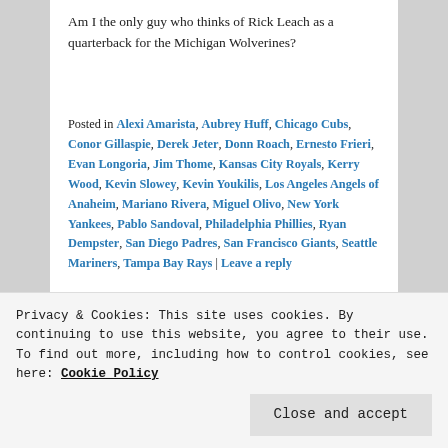Am I the only guy who thinks of Rick Leach as a quarterback for the Michigan Wolverines?
Posted in Alexi Amarista, Aubrey Huff, Chicago Cubs, Conor Gillaspie, Derek Jeter, Donn Roach, Ernesto Frieri, Evan Longoria, Jim Thome, Kansas City Royals, Kerry Wood, Kevin Slowey, Kevin Youkilis, Los Angeles Angels of Anaheim, Mariano Rivera, Miguel Olivo, New York Yankees, Pablo Sandoval, Philadelphia Phillies, Ryan Dempster, San Diego Padres, San Francisco Giants, Seattle Mariners, Tampa Bay Rays | Leave a reply
Jackie Robinson's First
Privacy & Cookies: This site uses cookies. By continuing to use this website, you agree to their use.
To find out more, including how to control cookies, see here: Cookie Policy
Baseball, the anniversary of Jackie's first game and a